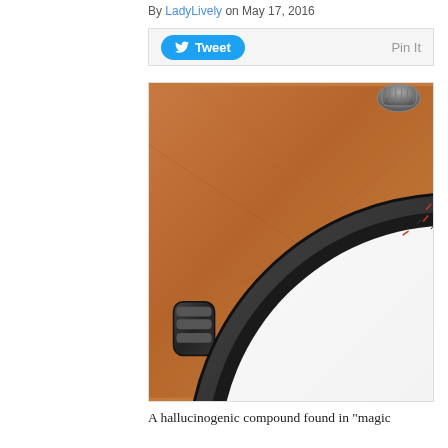By LadyLively on May 17, 2016
[Figure (photo): Close-up photograph of a stopwatch face on a scratched copper/wooden surface, showing the dial numbers 24–29 and sub-dial numbers 54–59, 8–14, with red and black markings]
A hallucinogenic compound found in "magic